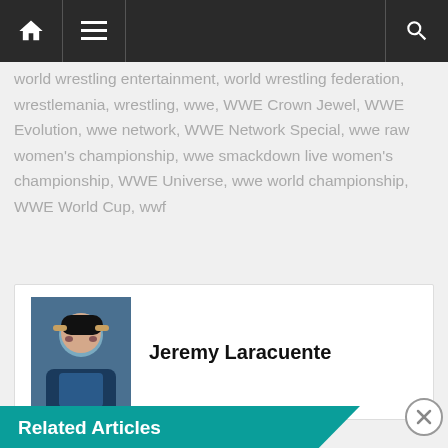Navigation bar with home, menu, and search icons
world wrestling entertainment, world wrestling federation, wrestlemania, wrestling, wwe, WWE Crown Jewel, WWE Evolution, wwe network, WWE Network Special, wwe raw women's championship, wwe smackdown live women's championship, WWE Universe, wwe world championship, WWE World Cup, wwf
Jeremy Laracuente
Related Articles
[Figure (screenshot): DuckDuckGo advertisement banner: 'Search, browse, and email with more privacy. All in One Free App']